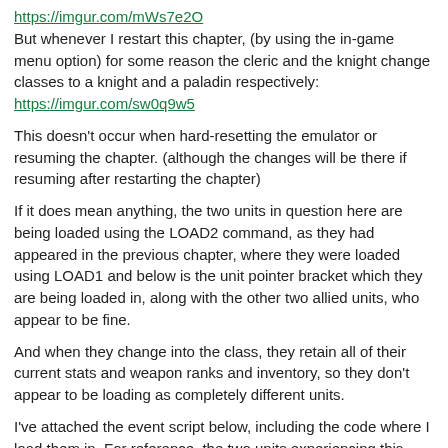https://imgur.com/mWs7e2O
But whenever I restart this chapter, (by using the in-game menu option) for some reason the cleric and the knight change classes to a knight and a paladin respectively: https://imgur.com/sw0q9w5
This doesn't occur when hard-resetting the emulator or resuming the chapter. (although the changes will be there if resuming after restarting the chapter)
If it does mean anything, the two units in question here are being loaded using the LOAD2 command, as they had appeared in the previous chapter, where they were loaded using LOAD1 and below is the unit pointer bracket which they are being loaded in, along with the other two allied units, who appear to be fine.
And when they change into the class, they retain all of their current stats and weapon ranks and inventory, so they don't appear to be loading as completely different units.
I've attached the event script below, including the code where I load them in. For reference, the two units experiencing this issue are Gilliam (Sword Knight) and Franz (Cleric).
Units:
UNIT Eirika EirikaLord 0x0 Level(1,Ally,False)